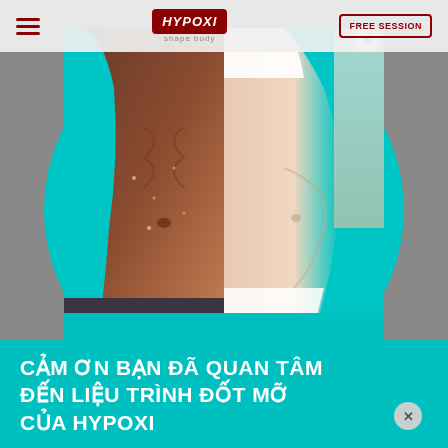HYPOXI | FREE SESSION
[Figure (photo): Modal popup showing two body comparison photos: a fit dark-skinned torso with abs on the left and a lighter-skinned overweight torso on the right, set against a teal background. The modal sits over a gray background.]
CẢM ƠN BẠN ĐÃ QUAN TÂM ĐẾN LIỆU TRÌNH ĐỐT MỠ CỦA HYPOXI